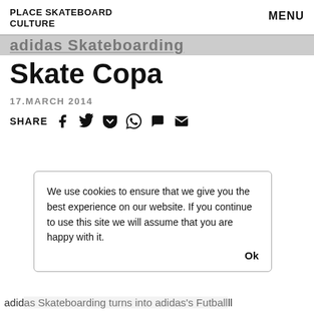PLACE SKATEBOARD CULTURE    MENU
adidas Skateboarding Skate Copa
17.MARCH 2014
SHARE [social icons: facebook, twitter, pocket, whatsapp, chat, email]
We use cookies to ensure that we give you the best experience on our website. If you continue to use this site we will assume that you are happy with it.    Ok
adidas Skateboarding turns into adidas's Futball